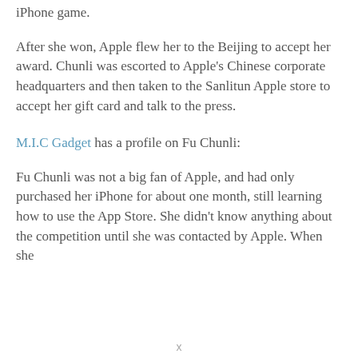iPhone game.
After she won, Apple flew her to the Beijing to accept her award. Chunli was escorted to Apple's Chinese corporate headquarters and then taken to the Sanlitun Apple store to accept her gift card and talk to the press.
M.I.C Gadget has a profile on Fu Chunli:
Fu Chunli was not a big fan of Apple, and had only purchased her iPhone for about one month, still learning how to use the App Store. She didn't know anything about the competition until she was contacted by Apple. When she
x